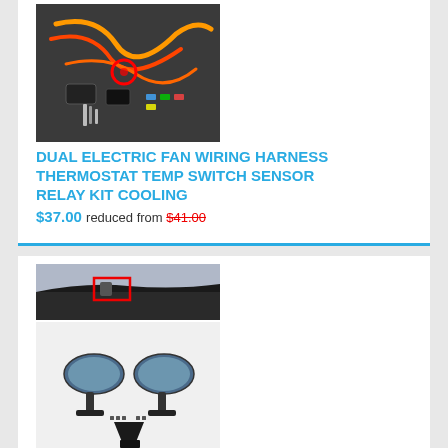[Figure (photo): Photo of dual electric fan wiring harness thermostat temp switch sensor relay kit with orange wires and relay components on dark background]
DUAL ELECTRIC FAN WIRING HARNESS THERMOSTAT TEMP SWITCH SENSOR RELAY KIT COOLING
$37.00 reduced from $41.00
[Figure (photo): Photo of car racing rearview side wing mirrors — top image shows car roofline, bottom shows two blue-tinted wing mirrors with mounting hardware and brackets]
CAR RACING REARVIEW SIDE WING MIRRORS CONVEX GLASS X 2 BLACK UNIVERSAL F1 STYLE
$37.66 reduced from $41.00